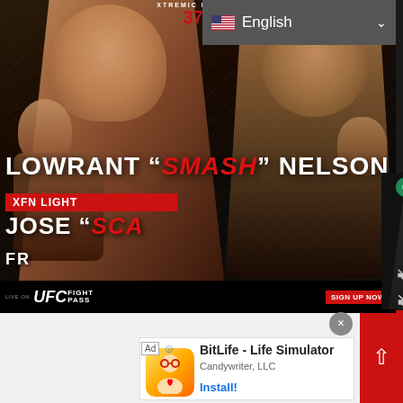[Figure (screenshot): Screenshot of a mobile browser showing a UFC/XFN Fight Night promotional page. The main content shows two MMA fighters in fighting stances against a dark arena background. Text reads 'LOWRANT "SMASH" NELSON', 'XFN LIGHT', 'JOSE "SCA...' (partially covered), 'FR...' (partially covered). Bottom shows UFC Fight Pass branding with 'SIGN UP NOW' button. A 'This Day in History' video overlay is partially visible on the right side showing a date '12 AUGUST' in blue numbers. An English language selector is visible in the top right. A mobile ad at the bottom shows 'BitLife - Life Simulator' by Candywriter, LLC with an 'Install!' button.]